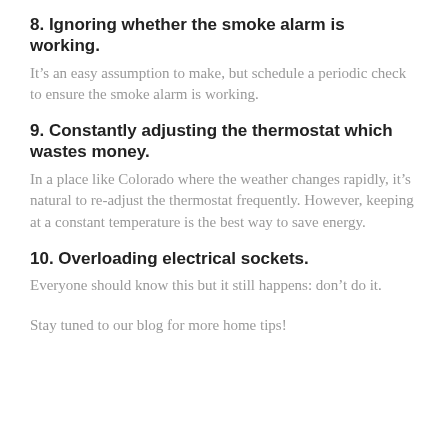8. Ignoring whether the smoke alarm is working.
It’s an easy assumption to make, but schedule a periodic check to ensure the smoke alarm is working.
9. Constantly adjusting the thermostat which wastes money.
In a place like Colorado where the weather changes rapidly, it’s natural to re-adjust the thermostat frequently. However, keeping at a constant temperature is the best way to save energy.
10. Overloading electrical sockets.
Everyone should know this but it still happens: don’t do it.
Stay tuned to our blog for more home tips!